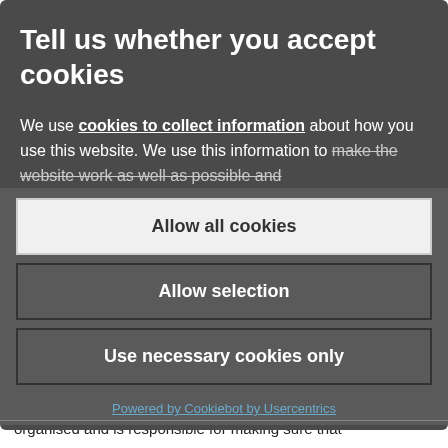Tell us whether you accept cookies
We use cookies to collect information about how you use this website. We use this information to make the website work as well as possible and
Allow all cookies
Allow selection
Use necessary cookies only
Powered by Cookiebot by Usercentrics
organised and is responsible for making sure that